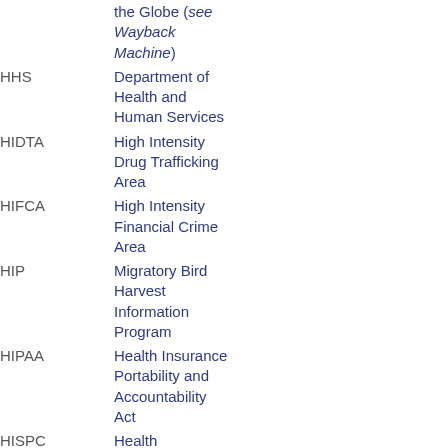| Abbreviation | Definition |
| --- | --- |
|  | the Globe (see Wayback Machine) |
| HHS | Department of Health and Human Services |
| HIDTA | High Intensity Drug Trafficking Area |
| HIFCA | High Intensity Financial Crime Area |
| HIP | Migratory Bird Harvest Information Program |
| HIPAA | Health Insurance Portability and Accountability Act |
| HISPC | Health Information Security and Privacy Collaboration |
| HMDA | Home Mortgage Disclosure Act |
| HMI | Healthy Marriage Initiative |